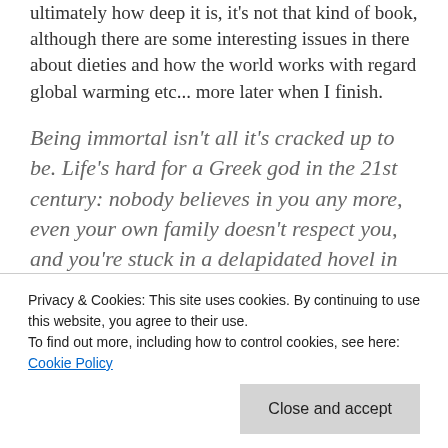ultimately how deep it is, it's not that kind of book, although there are some interesting issues in there about dieties and how the world works with regard global warming etc... more later when I finish.
Being immortal isn't all it's cracked up to be. Life's hard for a Greek god in the 21st century: nobody believes in you any more, even your own family doesn't respect you, and you're stuck in a delapidated hovel in north London with too many siblings and not enough hot
Privacy & Cookies: This site uses cookies. By continuing to use this website, you agree to their use. To find out more, including how to control cookies, see here: Cookie Policy
out... Until a meek cleaner and her would-be